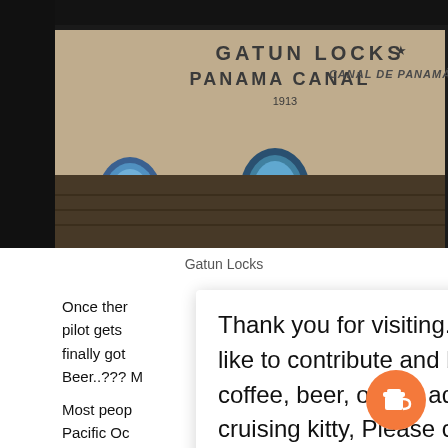[Figure (photo): Night photograph of the Gatun Locks, Panama Canal. Large stone structure illuminated at night with text reading GATUN LOCKS, PANAMA CANAL 1913, CANAL DE PANAMA. Blue lights visible in arched openings.]
Gatun Locks
Once ther the first pilot gets ning. We finally got ! Beer..??? M
Most peop bean to the Pacific Oc actu a North to tion in the image below.
Thank you for visiting. If you would like to contribute and buy us a coffee, beer, or just add to our cruising kitty, Please click here!